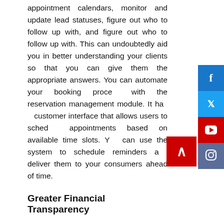appointment calendars, monitor and update lead statuses, figure out who to follow up with, and figure out who to follow up with. This can undoubtedly aid you in better understanding your clients so that you can give them the appropriate answers. You can automate your booking process with the reservation management module. It has a customer interface that allows users to schedule appointments based on available time slots. You can use the system to schedule reminders and deliver them to your consumers ahead of time.
Greater Financial Transparency
Accounting is a critical component of any organization, including professional services. Through real-time cash flow data, erp hong kong